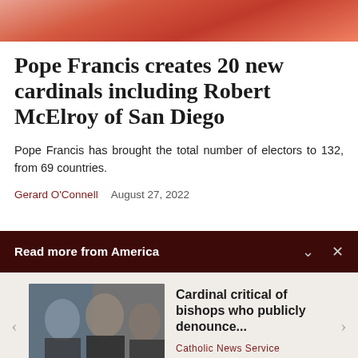[Figure (photo): Top portion of a photo showing people in red/orange vestments or robes, partially cropped]
Pope Francis creates 20 new cardinals including Robert McElroy of San Diego
Pope Francis has brought the total number of electors to 132, from 69 countries.
Gerard O'Connell   August 27, 2022
Read more from America
[Figure (photo): Photo of several Catholic clergy in black attire, sitting together]
Cardinal critical of bishops who publicly denounce...
Catholic News Service